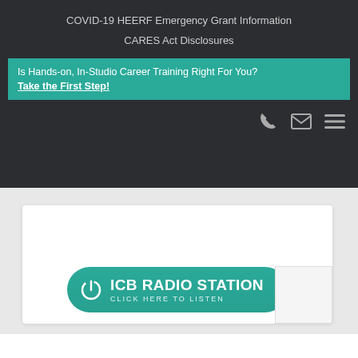COVID-19 HEERF Emergency Grant Information
CARES Act Disclosures
Is Hands-on, In-Studio Career Training Right For You?  Take the First Step!
[Figure (screenshot): Navigation icons: phone handset, envelope/mail, and hamburger menu, displayed in gray on dark background]
[Figure (infographic): White card on light gray background containing a teal pill-shaped button with power icon and text 'ICB RADIO STATION / CLICK HERE TO LISTEN']